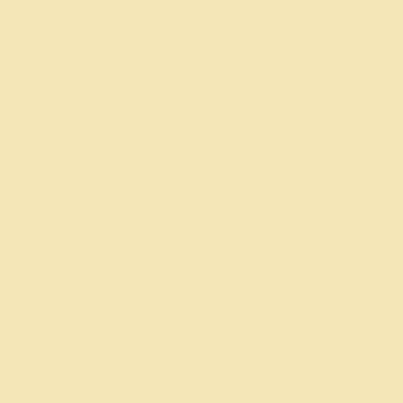Cameron/Potter ... schedule for the ... should travel wit... should be aware ... emergency work... day or night
Potter County 026...
Ditching:
• State Route: 02...
• State Route: 00...
• State Route: 10...
Bridge Repair:
• State Route: 08...
Pipe Replaceme...